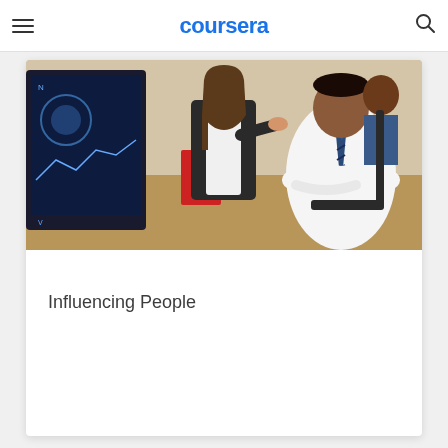coursera
[Figure (photo): A woman in a black blazer presenting at a screen showing data visualizations, with a man in a white shirt and tie seated in the foreground with arms crossed, in an office or classroom setting.]
Influencing People